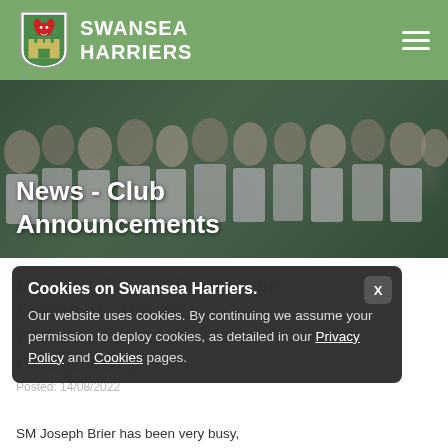SWANSEA HARRIERS
[Figure (photo): Group photo of Swansea Harriers athletes in white singlets, used as hero banner background]
News - Club Announcements
Cookies on Swansea Harriers. Our website uses cookies. By continuing we assume your permission to deploy cookies, as detailed in our Privacy Policy and Cookies pages.
Support Joseph Brier in the ... Posted: 14/08/2022
SM Joseph Brier has been very busy,